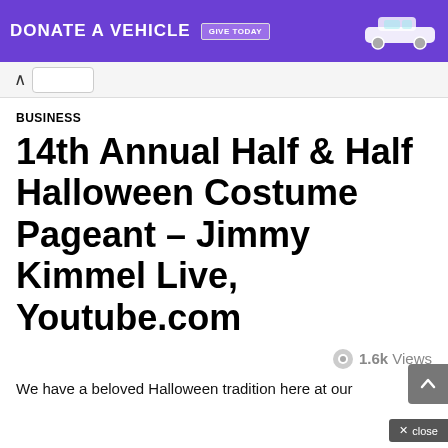[Figure (other): Purple advertisement banner: 'DONATE A VEHICLE' with 'GIVE TODAY' button and car image on right]
^ (navigation back chevron)
BUSINESS
14th Annual Half & Half Halloween Costume Pageant – Jimmy Kimmel Live, Youtube.com
1.6k Views
We have a beloved Halloween tradition here at our